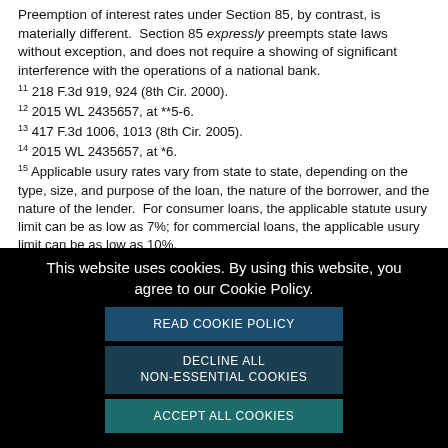Preemption of interest rates under Section 85, by contrast, is materially different. Section 85 expressly preempts state laws without exception, and does not require a showing of significant interference with the operations of a national bank.
11 218 F.3d 919, 924 (8th Cir. 2000).
12 2015 WL 2435657, at **5-6.
13 417 F.3d 1006, 1013 (8th Cir. 2005).
14 2015 WL 2435657, at *6.
15 Applicable usury rates vary from state to state, depending on the type, size, and purpose of the loan, the nature of the borrower, and the nature of the lender. For consumer loans, the applicable statute usury limit can be as low as 7%; for commercial loans, the applicable usury limit can be as low as 10%.
[Figure (screenshot): Cookie consent overlay with black background. Text reads: 'This website uses cookies. By using this website, you agree to our Cookie Policy.' Three buttons: 'READ COOKIE POLICY' (dark blue), 'DECLINE ALL NON-ESSENTIAL COOKIES' (dark navy), 'ACCEPT ALL COOKIES' (teal).]